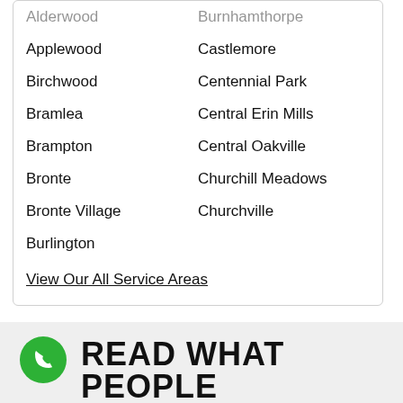Alderwood
Burnhamthorpe
Applewood
Castlemore
Birchwood
Centennial Park
Bramlea
Central Erin Mills
Brampton
Central Oakville
Bronte
Churchill Meadows
Bronte Village
Churchville
Burlington
View Our All Service Areas
READ WHAT PEOPLE